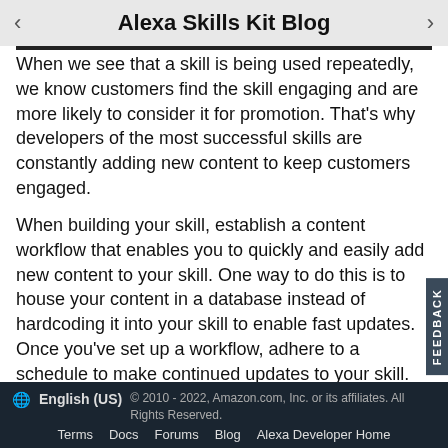Alexa Skills Kit Blog
When we see that a skill is being used repeatedly, we know customers find the skill engaging and are more likely to consider it for promotion. That's why developers of the most successful skills are constantly adding new content to keep customers engaged.
When building your skill, establish a content workflow that enables you to quickly and easily add new content to your skill. One way to do this is to house your content in a database instead of hardcoding it into your skill to enable fast updates. Once you've set up a workflow, adhere to a schedule to make continued updates to your skill. Find ways to add fresh content and continue delighting your customers over time. Here are some additional tips you can follow to keep customers engaged with dynamic content.
Skill Example: The skill Guided Meditation: Meditation of th...
English (US) © 2010 - 2022, Amazon.com, Inc. or its affiliates. All Rights Reserved. Terms Docs Forums Blog Alexa Developer Home